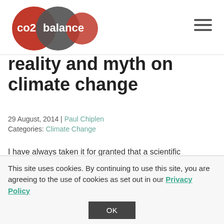co2balance [logo] navigation menu
reality and myth on climate change
29 August, 2014 | Paul Chiplen
Categories: Climate Change
I have always taken it for granted that a scientific consensus on man made climate change was a given, a
This site uses cookies. By continuing to use this site, you are agreeing to the use of cookies as set out in our Privacy Policy
OK